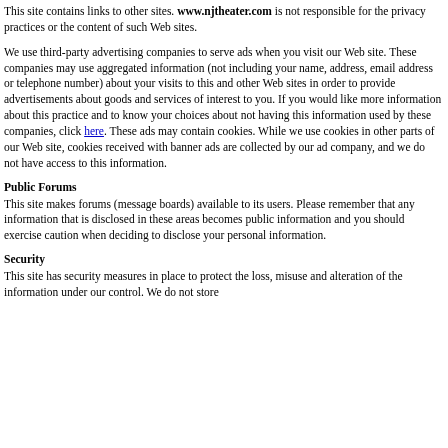This site contains links to other sites. www.njtheater.com is not responsible for the privacy practices or the content of such Web sites.
We use third-party advertising companies to serve ads when you visit our Web site. These companies may use aggregated information (not including your name, address, email address or telephone number) about your visits to this and other Web sites in order to provide advertisements about goods and services of interest to you. If you would like more information about this practice and to know your choices about not having this information used by these companies, click here. These ads may contain cookies. While we use cookies in other parts of our Web site, cookies received with banner ads are collected by our ad company, and we do not have access to this information.
Public Forums
This site makes forums (message boards) available to its users. Please remember that any information that is disclosed in these areas becomes public information and you should exercise caution when deciding to disclose your personal information.
Security
This site has security measures in place to protect the loss, misuse and alteration of the information under our control. We do not store